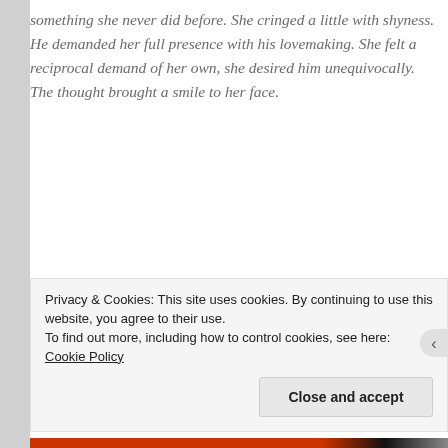something she never did before. She cringed a little with shyness. He demanded her full presence with his lovemaking. She felt a reciprocal demand of her own, she desired him unequivocally. The thought brought a smile to her face.
And all that passion brought Mira into their world, barely a year after their marriage. He gave her everything she had, her Mira and her Amma. He
Privacy & Cookies: This site uses cookies. By continuing to use this website, you agree to their use.
To find out more, including how to control cookies, see here: Cookie Policy